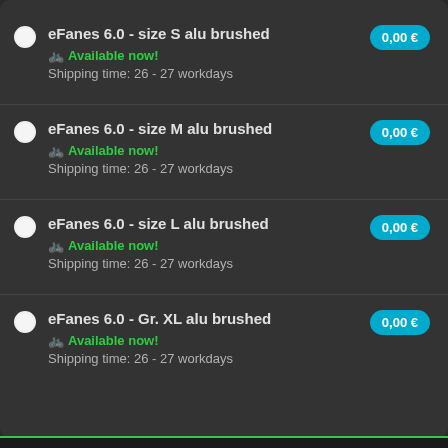eFanes 6.0 - size S alu brushed | Available now! | Shipping time: 26 - 27 workdays | 0,00 €
eFanes 6.0 - size M alu brushed | Available now! | Shipping time: 26 - 27 workdays | 0,00 €
eFanes 6.0 - size L alu brushed | Available now! | Shipping time: 26 - 27 workdays | 0,00 €
eFanes 6.0 - Gr. XL alu brushed | Available now! | Shipping time: 26 - 27 workdays | 0,00 €